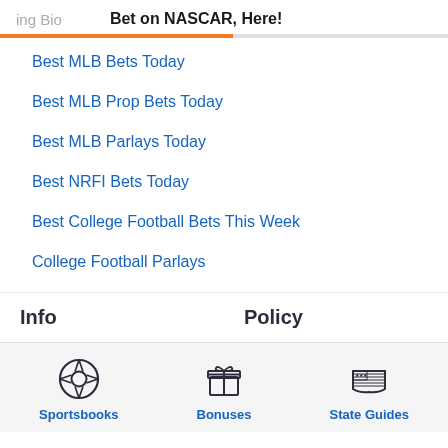ing Bio   Bet on NASCAR, Here!
Best MLB Bets Today
Best MLB Prop Bets Today
Best MLB Parlays Today
Best NRFI Bets Today
Best College Football Bets This Week
College Football Parlays
Info
Policy
[Figure (illustration): Bottom navigation icons: a soccer ball icon labeled Sportsbooks, a gift box icon labeled Bonuses, and a US flag map icon labeled State Guides]
Sportsbooks
Bonuses
State Guides